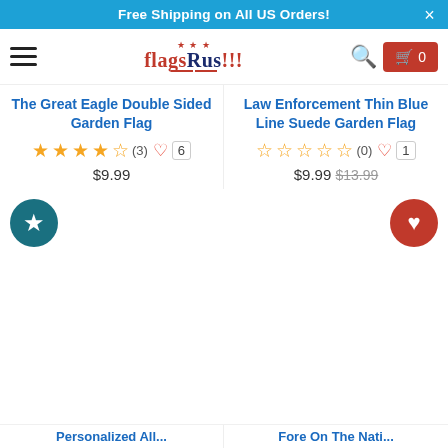Free Shipping on All US Orders!
[Figure (logo): FlagsRus!!! store logo with navigation bar including hamburger menu, search icon, and shopping cart button showing 0 items]
The Great Eagle Double Sided Garden Flag
★★★★☆ (3) ♡ 6
$9.99
Law Enforcement Thin Blue Line Suede Garden Flag
☆☆☆☆☆ (0) ♡ 1
$9.99 $13.99